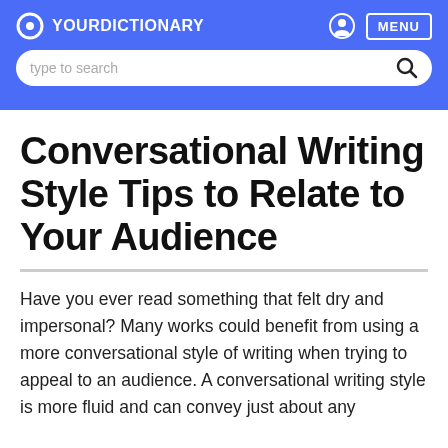YOUR DICTIONARY
Conversational Writing Style Tips to Relate to Your Audience
Have you ever read something that felt dry and impersonal? Many works could benefit from using a more conversational style of writing when trying to appeal to an audience. A conversational writing style is more fluid and can convey just about any